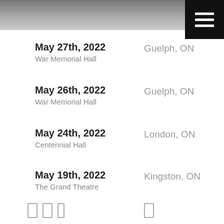[Figure (photo): Grayscale header photo banner at top of page]
May 27th, 2022 — Guelph, ON — War Memorial Hall
May 26th, 2022 — Guelph, ON — War Memorial Hall
May 24th, 2022 — London, ON — Centennial Hall
May 19th, 2022 — Kingston, ON — The Grand Theatre
May 18th, 2022 — Kingston, ON — The Grand Theatre